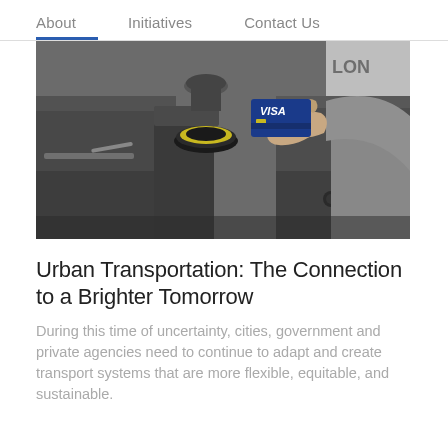About    Initiatives    Contact Us
[Figure (photo): A person holding a blue Visa card over a contactless payment reader on a transit turnstile/gate at a subway or transit station.]
Urban Transportation: The Connection to a Brighter Tomorrow
During this time of uncertainty, cities, government and private agencies need to continue to adapt and create transport systems that are more flexible, equitable, and sustainable.